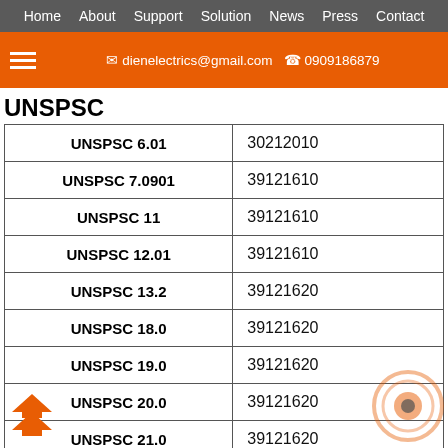Home  About  Support  Solution  News  Press  Contact
dienelectrics@gmail.com  0909186879
UNSPSC
|  |  |
| --- | --- |
| UNSPSC 6.01 | 30212010 |
| UNSPSC 7.0901 | 39121610 |
| UNSPSC 11 | 39121610 |
| UNSPSC 12.01 | 39121610 |
| UNSPSC 13.2 | 39121620 |
| UNSPSC 18.0 | 39121620 |
| UNSPSC 19.0 | 39121620 |
| UNSPSC 20.0 | 39121620 |
| UNSPSC 21.0 | 39121620 |